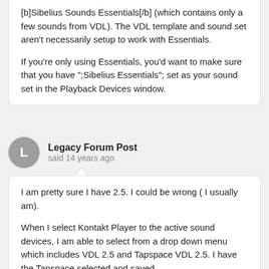[b]Sibelius Sounds Essentials[/b] (which contains only a few sounds from VDL). The VDL template and sound set aren't necessarily setup to work with Essentials.

If you're only using Essentials, you'd want to make sure that you have ";Sibelius Essentials"; set as your sound set in the Playback Devices window.
Legacy Forum Post
said 14 years ago
I am pretty sure I have 2.5.  I could be wrong ( I usually am).

When I select Kontakt Player to the active sound devices, I am able to select from a drop down menu which includes VDL 2.5 and Tapspace VDL 2.5.  I have the Tapspace selected and saved....

I apologize for my ignorance about this stuff and greatly appreciate everyone's comments.